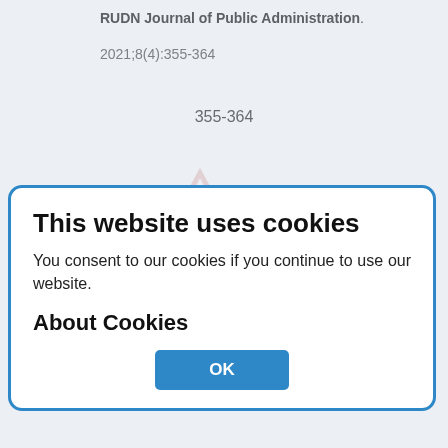RUDN Journal of Public Administration. 2021;8(4):355-364
355-364
[Figure (logo): RUDN University logo watermark, partially visible in background]
The Image of the Ancient Jewish Ruler and Autocratic Ruler During the Formation of Statehood (Based on the Materials of the Hebrew Bible)
This website uses cookies
You consent to our cookies if you continue to use our website.
About Cookies
OK
Kovalev A.A.
Abstract
The relevance of the study lies in the fact that the ancient texts of the Hebrew Bible largely
Show